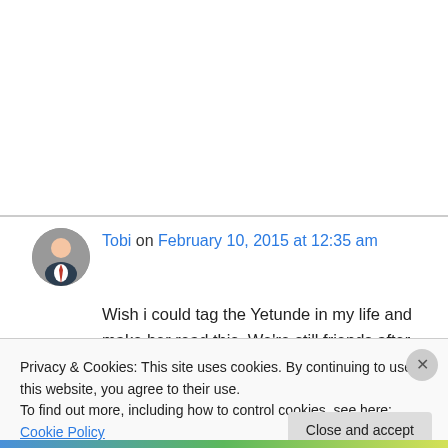Tobi on February 10, 2015 at 12:35 am
Wish i could tag the Yetunde in my life and make her read this. We're still friends after 9years and she's not in a relationship but she keeps giving me the best advice whenever I have a misunderstanding with my gf. I asked her for a
Privacy & Cookies: This site uses cookies. By continuing to use this website, you agree to their use.
To find out more, including how to control cookies, see here: Cookie Policy
Close and accept